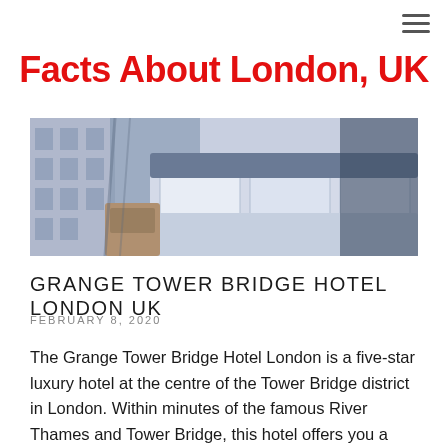Facts About London, UK
[Figure (photo): Hotel room interior showing a bed with blue/grey bedding, pillows, and a bedside table. A building with windows is partially visible on the left.]
GRANGE TOWER BRIDGE HOTEL LONDON UK
FEBRUARY 8, 2020
The Grange Tower Bridge Hotel London is a five-star luxury hotel at the centre of the Tower Bridge district in London. Within minutes of the famous River Thames and Tower Bridge, this hotel offers you a convenient location, as well as a contemporary luxury setting. You can…